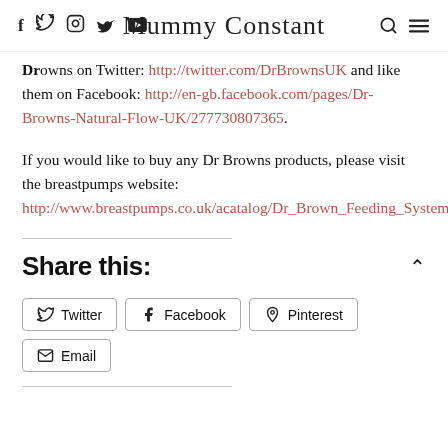Social icons: f, Twitter, Instagram, YouTube | Mummy Constant | search icon | menu icon
Browns on Twitter: http://twitter.com/DrBrownsUK and like them on Facebook: http://en-gb.facebook.com/pages/Dr-Browns-Natural-Flow-UK/277730807365.
If you would like to buy any Dr Browns products, please visit the breastpumps website: http://www.breastpumps.co.uk/acatalog/Dr_Brown_Feeding_System.html.
Share this:
Twitter
Facebook
Pinterest
Email